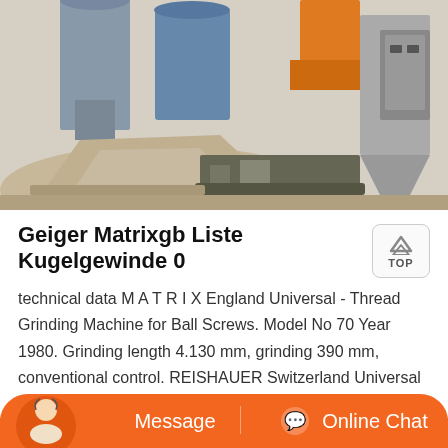[Figure (photo): Industrial facility with large silos, conveyor equipment, piles of aggregate material (sand/gravel), heavy machinery including an orange loader/crane, in a warehouse setting]
Geiger Matrixgb Liste Kugelgewinde 0
technical data M A T R I X England Universal - Thread Grinding Machine for Ball Screws. Model No 70 Year 1980. Grinding length 4.130 mm, grinding 390 mm, conventional control. REISHAUER Switzerland Universal - Thread Grinding Machine for Ball Screw Spindles. Type UL, Year 1984.
[Figure (photo): Chat bar UI with customer service avatar, Message button, and Online Chat button on orange background]